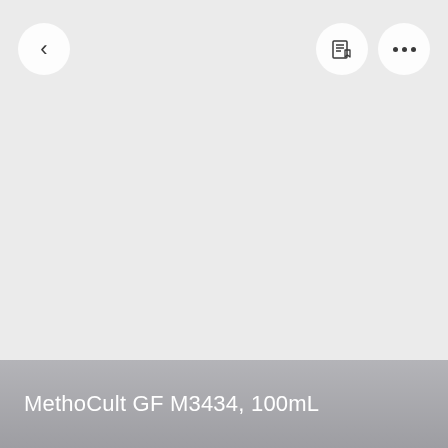[Figure (screenshot): Mobile app screenshot showing a product viewer with a back button (left arrow) in the top-left, and two icon buttons (bookmark/list icon and three-dots menu) in the top-right. The main area is a light gray empty image viewer. The bottom bar is a translucent gray strip with white product title text.]
MethoCult GF M3434, 100mL